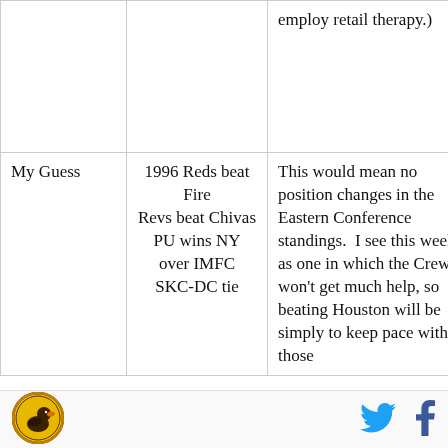|  |  | employ retail therapy.) |
| My Guess | 1996 Reds beat Fire
Revs beat Chivas
PU wins NY over IMFC
SKC-DC tie | This would mean no position changes in the Eastern Conference standings.  I see this week as one in which the Crew won't get much help, so beating Houston will be simply to keep pace with those |
[Figure (logo): Circular logo with a duck silhouette on yellow/gold background with dark border]
[Figure (logo): Twitter bird icon in cyan/blue]
[Figure (logo): Facebook 'f' icon in dark blue]